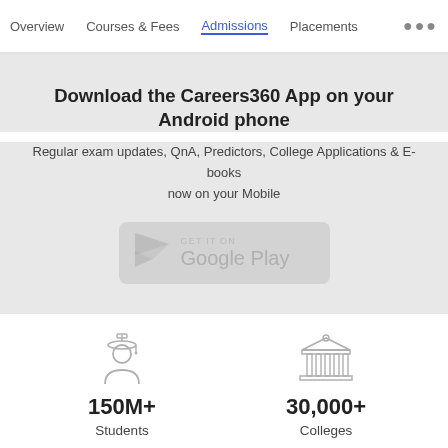Overview   Courses & Fees   Admissions   Placements   •••
Download the Careers360 App on your Android phone
Regular exam updates, QnA, Predictors, College Applications & E-books now on your Mobile
[Figure (logo): Get it on Google Play button]
150M+ Students
30,000+ Colleges
[Figure (illustration): Clipboard/checklist icon and open book icon at bottom]